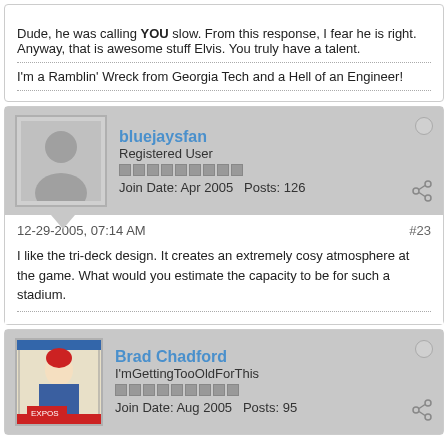Dude, he was calling YOU slow. From this response, I fear he is right. Anyway, that is awesome stuff Elvis. You truly have a talent.
I'm a Ramblin' Wreck from Georgia Tech and a Hell of an Engineer!
bluejaysfan
Registered User
Join Date: Apr 2005   Posts: 126
12-29-2005, 07:14 AM
#23
I like the tri-deck design. It creates an extremely cosy atmosphere at the game. What would you estimate the capacity to be for such a stadium.
Brad Chadford
I'mGettingTooOldForThis
Join Date: Aug 2005   Posts: 95